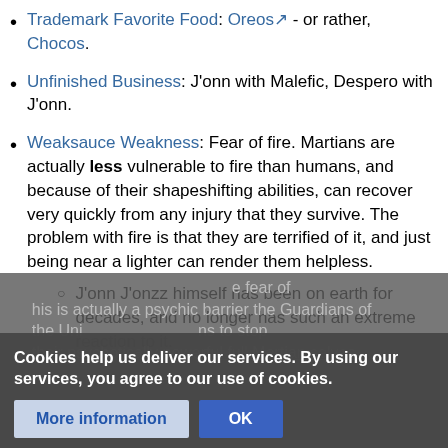Trademark Favorite Food: Oreos - or rather, Chocos.
Unfinished Business: J'onn with Malefic, Despero with J'onn.
Weaksauce Weakness: Fear of fire. Martians are actually less vulnerable to fire than humans, and because of their shapeshifting abilities, can recover very quickly from any injury that they survive. The problem with fire is that they are terrified of it, and just being near a lighter can render them helpless.
J'onn J'onzz himself has been on earth for decades, and no longer has such an extreme reaction to it.
Cookies help us deliver our services. By using our services, you agree to our use of cookies.
his fear of fire is actually a psychic barrier the Guardians of the Universe... ins to stop their psychotically powerful full Martian selves
More information  OK